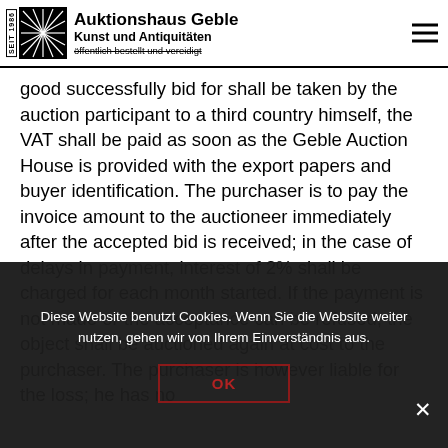Auktionshaus Geble – Kunst und Antiquitäten – öffentlich bestellt und vereidigt
...good successfully bid for shall be taken by the auction participant to a third country himself, the VAT shall be paid as soon as the Geble Auction House is provided with the export papers and buyer identification. The purchaser is to pay the invoice amount to the auctioneer immediately after the accepted bid is received; in the case of delays in payment, interest of 2% shall be charged for each month started. If the payment is not made or the acceptance can be refused, the object shall be auctioned again at cost to the purchaser. The purchaser is however liable for the loss; he has no...
Diese Website benutzt Cookies. Wenn Sie die Website weiter nutzen, gehen wir von Ihrem Einverständnis aus.
OK